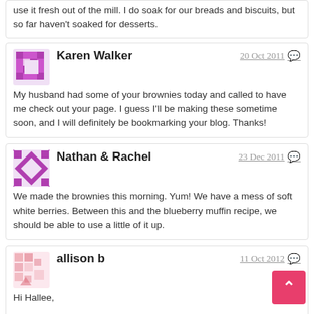use it fresh out of the mill. I do soak for our breads and biscuits, but so far haven't soaked for desserts.
Karen Walker · 20 Oct 2011 · My husband had some of your brownies today and called to have me check out your page. I guess I'll be making these sometime soon, and I will definitely be bookmarking your blog. Thanks!
Nathan & Rachel · 23 Dec 2011 · We made the brownies this morning. Yum! We have a mess of soft white berries. Between this and the blueberry muffin recipe, we should be able to use a little of it up.
allison b · 11 Oct 2012 · Hi Hallee, I am new to baking with fresh milled flour and am very excited to try this recipe. But, I am concerned about using 3 eggs since we have some egg sensitivity in my house. 1 is great, 2 ok, 3...too mu... Can you advise on any adjustments to keep them